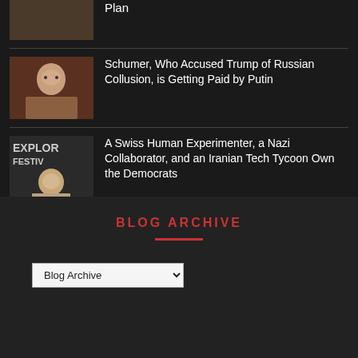Schumer, Who Accused Trump of Russian Collusion, is Getting Paid by Putin
A Swiss Human Experimenter, a Nazi Collaborator, and an Iranian Tech Tycoon Own the Democrats
BLOG ARCHIVE
Blog Archive